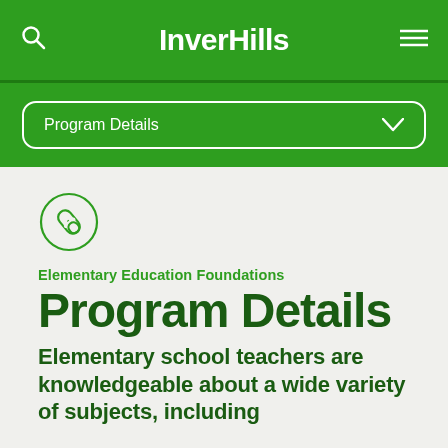InverHills
Program Details
[Figure (illustration): Circular icon with a link/paperclip symbol, outlined in green on light gray background]
Elementary Education Foundations
Program Details
Elementary school teachers are knowledgeable about a wide variety of subjects, including